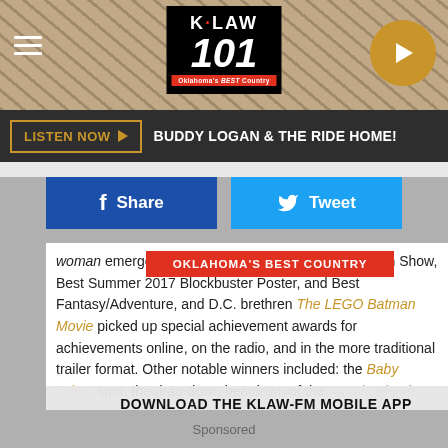[Figure (screenshot): K-LAW 101 radio station mobile website screenshot showing header with logo, hamburger menu, play button, listen now bar, social share buttons, article text, and mobile app download overlay with Amazon Alexa mention]
K·LAW 101 Oklahoma's BEST Country
LISTEN NOW ▶  BUDDY LOGAN & THE RIDE HOME!
Share  Tweet
woman emerged victorious with the top prize of Best in Show, Best Summer 2017 Blockbuster Poster, and Best Fantasy/Adventure, and D.C. brethren The LEGO Batman Movie picked up special achievement awards for achievements online, on the radio, and in the more traditional trailer format. Other notable winners included: the Baby Driver spot, the drag-down beatdown of the Atomic Blonde teaser, and the high-class advertisements (pronounced ad-VER-tiss-mints) for Manchester by the Sea and I Am Not Your Negro.
OKLAHOMA'S BEST COUNTRY
DOWNLOAD THE KLAW-FM MOBILE APP
GET OUR FREE MOBILE APP
Also listen on:  amazon alexa
Sponsored